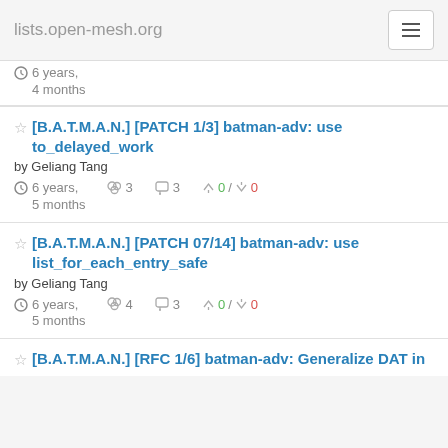lists.open-mesh.org
6 years, 4 months
[B.A.T.M.A.N.] [PATCH 1/3] batman-adv: use to_delayed_work by Geliang Tang — 6 years, 5 months — 3 participants, 3 comments, 0 likes / 0 dislikes
[B.A.T.M.A.N.] [PATCH 07/14] batman-adv: use list_for_each_entry_safe by Geliang Tang — 6 years, 5 months — 4 participants, 3 comments, 0 likes / 0 dislikes
[B.A.T.M.A.N.] [RFC 1/6] batman-adv: Generalize DAT in